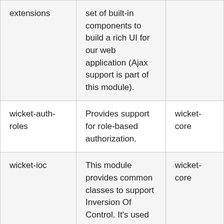| extensions | set of built-in components to build a rich UI for our web application (Ajax support is part of this module). |  |
| wicket-auth-roles | Provides support for role-based authorization. | wicket-core |
| wicket-ioc | This module provides common classes to support Inversion Of Control. It's used | wicket-core |